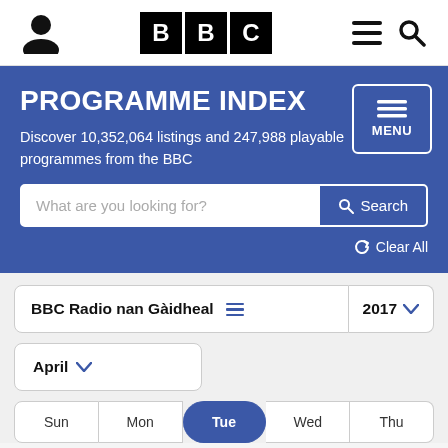[Figure (logo): BBC logo with three black squares each containing a white letter B, B, C]
PROGRAMME INDEX
Discover 10,352,064 listings and 247,988 playable programmes from the BBC
What are you looking for? Search
Clear All
BBC Radio nan Gàidheal 2017
April
Sun Mon Tue Wed Thu